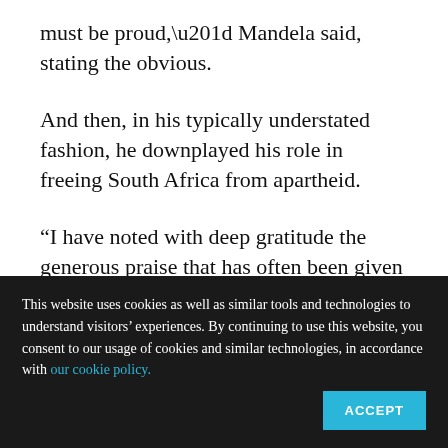must be proud,” Mandela said, stating the obvious.
And then, in his typically understated fashion, he downplayed his role in freeing South Africa from apartheid.
“I have noted with deep gratitude the generous praise that has often been given to me as an individual,” he said. “But let me state this, to
This website uses cookies as well as similar tools and technologies to understand visitors’ experiences. By continuing to use this website, you consent to our usage of cookies and similar technologies, in accordance with our cookie policy.